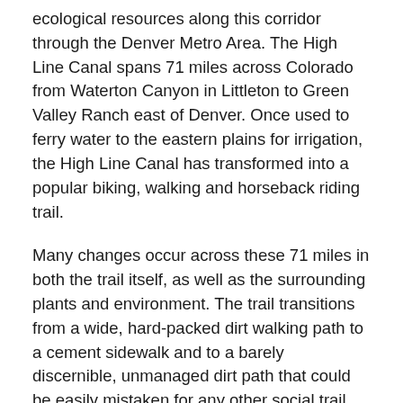ecological resources along this corridor through the Denver Metro Area. The High Line Canal spans 71 miles across Colorado from Waterton Canyon in Littleton to Green Valley Ranch east of Denver. Once used to ferry water to the eastern plains for irrigation, the High Line Canal has transformed into a popular biking, walking and horseback riding trail.
Many changes occur across these 71 miles in both the trail itself, as well as the surrounding plants and environment. The trail transitions from a wide, hard-packed dirt walking path to a cement sidewalk and to a barely discernible, unmanaged dirt path that could be easily mistaken for any other social trail. The canal, too, goes through a dramatic transformation as it progresses north. The southern reaches of the canal maintain the most reliable water levels throughout the year, but the canal runs dry for most of its length as it winds northward.